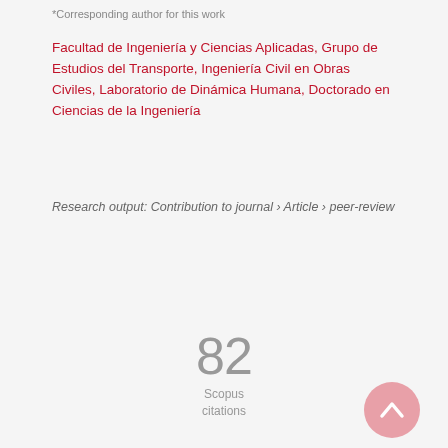*Corresponding author for this work
Facultad de Ingeniería y Ciencias Aplicadas, Grupo de Estudios del Transporte, Ingeniería Civil en Obras Civiles, Laboratorio de Dinámica Humana, Doctorado en Ciencias de la Ingeniería
Research output: Contribution to journal › Article › peer-review
82
Scopus
citations
[Figure (other): Back to top button — pink circular button with upward chevron arrow]